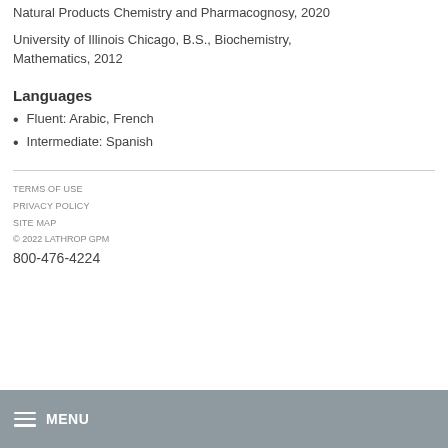Natural Products Chemistry and Pharmacognosy, 2020
University of Illinois Chicago, B.S., Biochemistry, Mathematics, 2012
Languages
Fluent: Arabic, French
Intermediate: Spanish
TERMS OF USE
PRIVACY POLICY
SITE MAP
© 2022 LATHROP GPM
800-476-4224
MENU